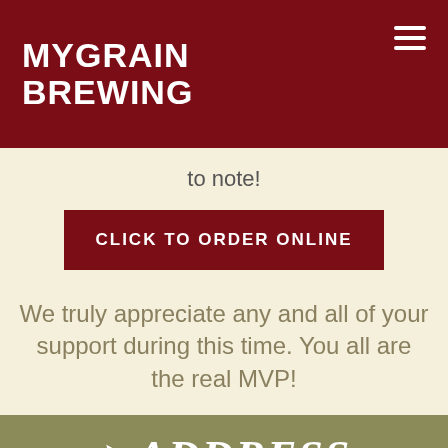MYGRAIN BREWING
to note!
CLICK TO ORDER ONLINE
We truly appreciate any and all of your support during this time. You all are the real MVP!
ADDRESS
50 E. Jefferson St., Suite 106
Joliet, Illinois 60432